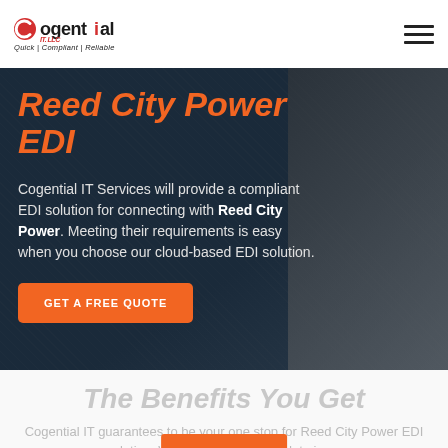Cogential IT, LLC — Quick | Compliant | Reliable
Reed City Power EDI
Cogential IT Services will provide a compliant EDI solution for connecting with Reed City Power. Meeting their requirements is easy when you choose our cloud-based EDI solution.
GET A FREE QUOTE
The Benefits You Get
Cogential IT guarantees to be your one stop for Reed City Power EDI solution. We data in an